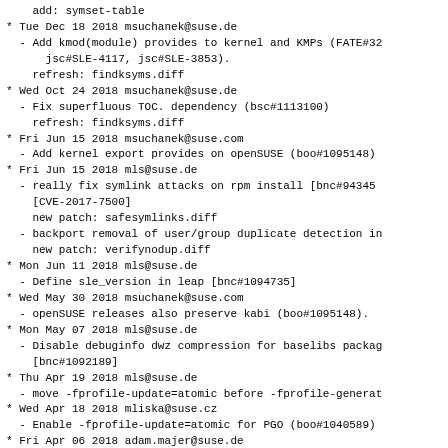add: symset-table
* Tue Dec 18 2018 msuchanek@suse.de
  - Add kmod(module) provides to kernel and KMPs (FATE#32
      jsc#SLE-4117, jsc#SLE-3853).
    refresh: findksyms.diff
* Wed Oct 24 2018 msuchanek@suse.de
  - Fix superfluous TOC. dependency (bsc#1113100)
    refresh: findksyms.diff
* Fri Jun 15 2018 msuchanek@suse.com
  - Add kernel export provides on openSUSE (boo#1095148)
* Fri Jun 15 2018 mls@suse.de
  - really fix symlink attacks on rpm install [bnc#94345
    [CVE-2017-7500]
    new patch: safesymlinks.diff
  - backport removal of user/group duplicate detection in
    new patch: verifynodup.diff
* Mon Jun 11 2018 mls@suse.de
  - Define sle_version in leap [bnc#1094735]
* Wed May 30 2018 msuchanek@suse.com
  - openSUSE releases also preserve kabi (boo#1095148).
* Mon May 07 2018 mls@suse.de
  - Disable debuginfo dwz compression for baselibs packag
    [bnc#1092189]
* Thu Apr 19 2018 mls@suse.de
  - move -fprofile-update=atomic before -fprofile-generat
* Wed Apr 18 2018 mliska@suse.cz
  - Enable -fprofile-update=atomic for PGO (boo#1040589)
* Fri Apr 06 2018 adam.majer@suse.de
  - %install_info: if we are going to fail, at least fai
    not on attempted upgrades or uninstall [bsc#1084997]